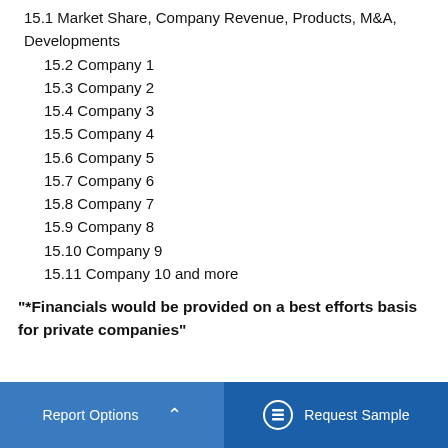15.1 Market Share, Company Revenue, Products, M&A, Developments
15.2 Company 1
15.3 Company 2
15.4 Company 3
15.5 Company 4
15.6 Company 5
15.7 Company 6
15.8 Company 7
15.9 Company 8
15.10 Company 9
15.11 Company 10 and more
"*Financials would be provided on a best efforts basis for private companies"
Report Options   ^   Request Sample